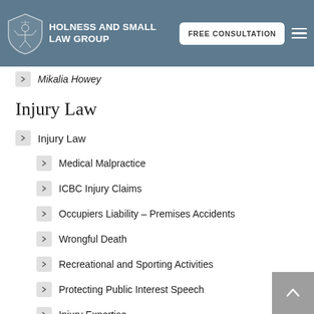HOLNESS AND SMALL LAW GROUP — FREE CONSULTATION
Mikalia Howey
Injury Law
Injury Law
Medical Malpractice
ICBC Injury Claims
Occupiers Liability – Premises Accidents
Wrongful Death
Recreational and Sporting Activities
Protecting Public Interest Speech
Injury Expertise